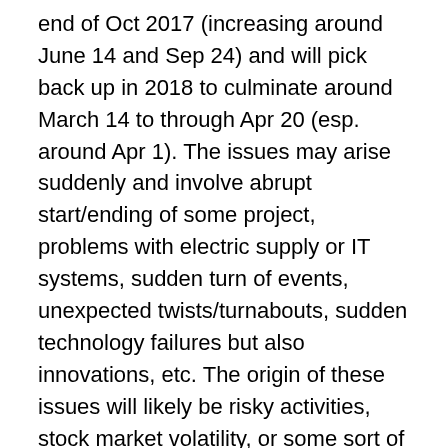end of Oct 2017 (increasing around June 14 and Sep 24) and will pick back up in 2018 to culminate around March 14 to through Apr 20 (esp. around Apr 1). The issues may arise suddenly and involve abrupt start/ending of some project, problems with electric supply or IT systems, sudden turn of events, unexpected twists/turnabouts, sudden technology failures but also innovations, etc. The origin of these issues will likely be risky activities, stock market volatility, or some sort of a gamble. There may be much drama surrounding some issue (probably military or some new high tech initiative) — the issue could be related to IT, technology, telecoms, and aerospace (e.g., problems with airlines, IT equipment, electric supply, electronic banking, or data processing). In sum, some risky activity may cause a sudden problem for financial institutions and/or healthcare, etc. and cause some